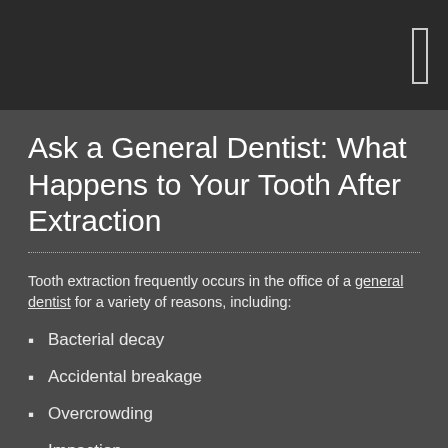Ask a General Dentist: What Happens to Your Tooth After Extraction
Tooth extraction frequently occurs in the office of a general dentist for a variety of reasons, including:
Bacterial decay
Accidental breakage
Overcrowding
Impaction